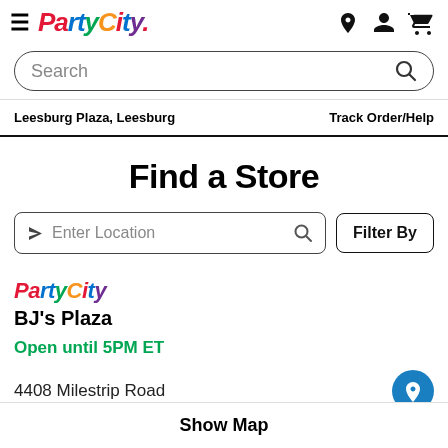Party City [logo with navigation icons]
Search
Leesburg Plaza, Leesburg    Track Order/Help
Find a Store
Enter Location   Filter By
[Figure (logo): Party City logo in multicolor italic text]
BJ's Plaza
Open until 5PM ET
4408 Milestrip Road
Show Map